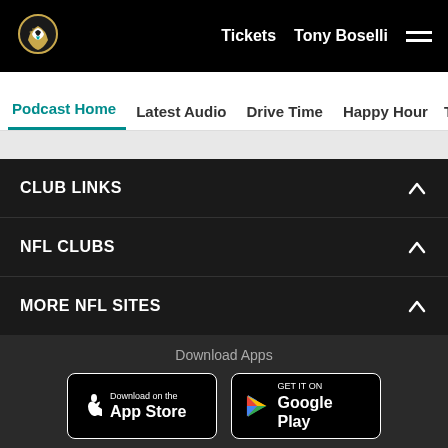[Figure (logo): Jacksonville Jaguars small logo in top-left of nav bar]
Tickets  Tony Boselli  ☰
Podcast Home
Latest Audio
Drive Time
Happy Hour
The Ozo
CLUB LINKS
NFL CLUBS
MORE NFL SITES
Download Apps
[Figure (logo): Download on the App Store button]
[Figure (logo): Get it on Google Play button]
[Figure (logo): Jacksonville Jaguars large logo centered at bottom]